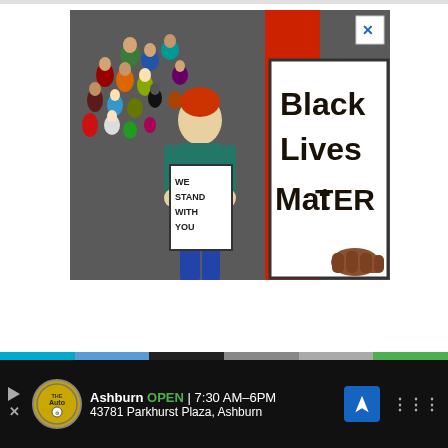[Figure (illustration): A painted illustration showing protesters holding signs. On the right, a person in a red long-sleeved shirt holds a large sign reading 'BLACK LIVES MATTER'. In the middle, a smaller figure in a green shirt holds a sign reading 'WE STAND WITH YOU'. In the background, colorful figures of a crowd are depicted. An X close button appears in the upper right corner of the image.]
[Figure (infographic): Bottom advertisement bar showing 'The Auto' logo, text: 'Ashburn OPEN 7:30 AM–6PM' and '43781 Parkhurst Plaza, Ashburn', a blue navigation/directions icon, and media player controls on the right.]